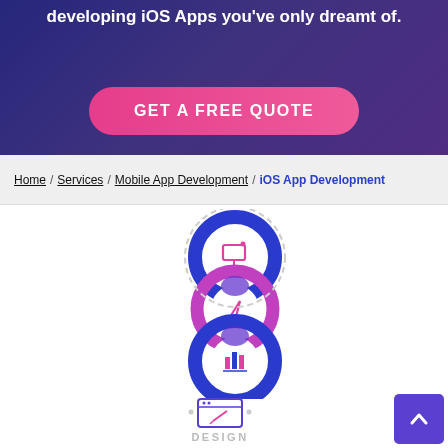developing iOS Apps you've only dreamt of.
GET A FREE QUOTE
Home / Services / Mobile App Development / iOS App Development
[Figure (illustration): Three overlapping circular rings in blue and pink forming an infinity/figure-8 shape, each containing an icon: a monitor screen, a pencil/edit icon, and a bar chart icon]
[Figure (illustration): Small icon showing a browser/design window with a pencil tool, with dot decorations on either side, labeled DESIGN below]
DESIGN